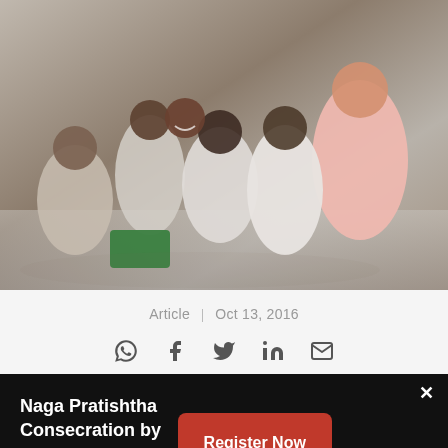[Figure (photo): Group of school children in white uniforms sitting and smiling, with a person in a pink top engaging with them]
Article | Oct 13, 2016
[Figure (infographic): Social sharing icons: WhatsApp, Facebook, Twitter, LinkedIn, Email]
Naga Pratishtha Consecration by Sadhguru
6 PM, 9 OCT 2022
Register Now